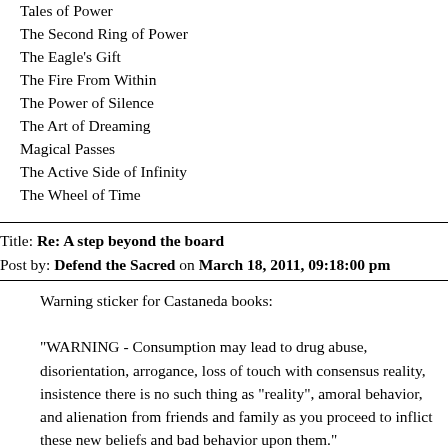Tales of Power
The Second Ring of Power
The Eagle's Gift
The Fire From Within
The Power of Silence
The Art of Dreaming
Magical Passes
The Active Side of Infinity
The Wheel of Time
Title: Re: A step beyond the board
Post by: Defend the Sacred on March 18, 2011, 09:18:00 pm
Warning sticker for Castaneda books:

"WARNING - Consumption may lead to drug abuse, disorientation, arrogance, loss of touch with consensus reality, insistence there is no such thing as "reality", amoral behavior, and alienation from friends and family as you proceed to inflict these new beliefs and bad behavior upon them."
Title: Re: A step beyond the board
Post by: critter - a white non-ndn person on March 19, 2011, 02:40:11 am
I will stand and say I loved the first 4 Castaneda books and they taught me to care about others and to work on my own ego/arrogance. And it was clear in those books that peyote